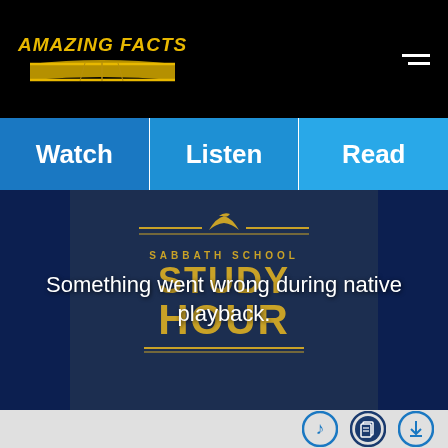[Figure (logo): Amazing Facts logo with golden book and text on black header bar, plus hamburger menu icon]
Watch
Listen
Read
[Figure (screenshot): Sabbath School Study Hour video thumbnail with blue background and gold text. Error message overlay reads: Something went wrong during native playback.]
Something went wrong during native playback.
[Figure (other): Bottom toolbar with three circular icon buttons: music note, bookmark/document, and download icons]